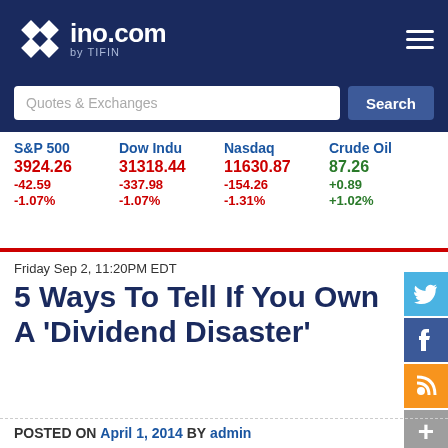ino.com by TIFIN
Quotes & Exchanges Search
| S&P 500 | Dow Indu | Nasdaq | Crude Oil |
| --- | --- | --- | --- |
| 3924.26 | 31318.44 | 11630.87 | 87.26 |
| -42.59 | -337.98 | -154.26 | +0.89 |
| -1.07% | -1.07% | -1.31% | +1.02% |
Friday Sep 2, 11:20PM EDT
5 Ways To Tell If You Own A 'Dividend Disaster'
POSTED ON April 1, 2014 BY admin